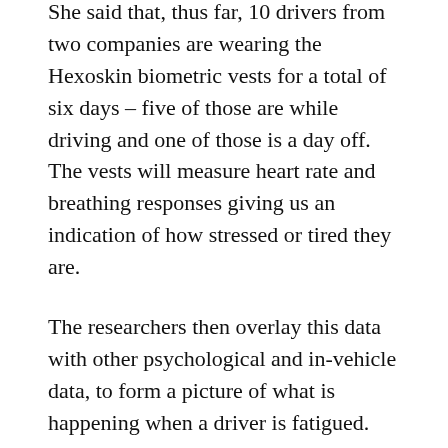She said that, thus far, 10 drivers from two companies are wearing the Hexoskin biometric vests for a total of six days – five of those are while driving and one of those is a day off. The vests will measure heart rate and breathing responses giving us an indication of how stressed or tired they are.
The researchers then overlay this data with other psychological and in-vehicle data, to form a picture of what is happening when a driver is fatigued. In-vehicle data will look at markers such as lane positioning, distance from other vehicles and steering wheel angle.
The research is the first to tackle psychological, physiological and in-vehicle data monitoring predictors of fatigue in professional drivers.